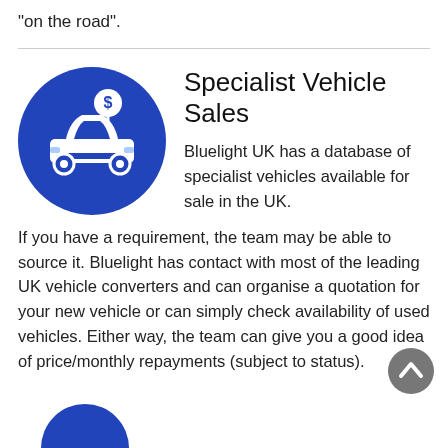"on the road".
[Figure (illustration): Blue circle icon with a white car and a price tag/location pin with a dollar sign above it, representing specialist vehicle sales.]
Specialist Vehicle Sales
Bluelight UK has a database of specialist vehicles available for sale in the UK. If you have a requirement, the team may be able to source it. Bluelight has contact with most of the leading UK vehicle converters and can organise a quotation for your new vehicle or can simply check availability of used vehicles. Either way, the team can give you a good idea of price/monthly repayments (subject to status).
[Figure (illustration): Grey circular back-to-top button with an upward chevron arrow.]
[Figure (illustration): Partial blue circle at the bottom left, likely another section icon.]